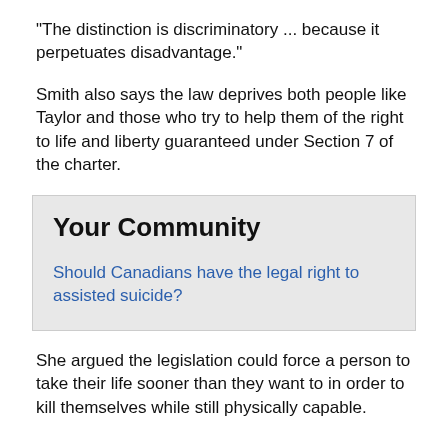"The distinction is discriminatory ... because it perpetuates disadvantage."
Smith also says the law deprives both people like Taylor and those who try to help them of the right to life and liberty guaranteed under Section 7 of the charter.
Your Community
Should Canadians have the legal right to assisted suicide?
She argued the legislation could force a person to take their life sooner than they want to in order to kill themselves while still physically capable.